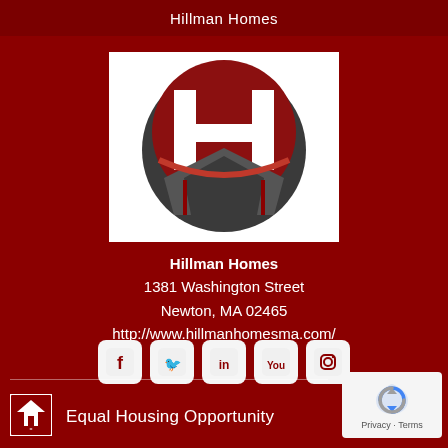Hillman Homes
[Figure (logo): Hillman Homes logo: stylized H letter in white on dark red circle with gray house/shield base element]
Hillman Homes
1381 Washington Street
Newton, MA 02465
http://www.hillmanhomesma.com/
[Figure (infographic): Five social media icons in rounded square white backgrounds: Facebook, Twitter, LinkedIn, YouTube, Instagram]
[Figure (infographic): Equal Housing Opportunity logo: house with equal sign]
Equal Housing Opportunity